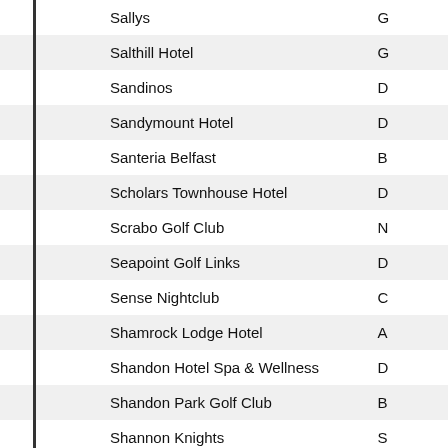| Name | Code |
| --- | --- |
| Sallys | G |
| Salthill Hotel | G |
| Sandinos | D |
| Sandymount Hotel | D |
| Santeria Belfast | B |
| Scholars Townhouse Hotel | D |
| Scrabo Golf Club | N |
| Seapoint Golf Links | D |
| Sense Nightclub | C |
| Shamrock Lodge Hotel | A |
| Shandon Hotel Spa & Wellness | D |
| Shandon Park Golf Club | B |
| Shannon Knights | S |
| Shantallow House | D |
| Sheen Falls Country Club | K |
| Sheepbridge Family Entertainment Centre | N |
| Shenanigans Venue | P |
| Sherland Entertainments Ltd | D |
| Shifty Mulheros | M |